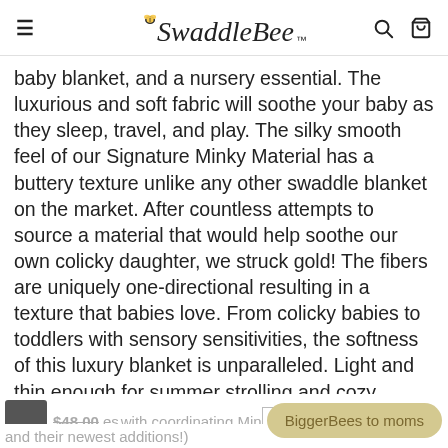≡  SwaddleBee  🔍 🛍
baby blanket, and a nursery essential. The luxurious and soft fabric will soothe your baby as they sleep, travel, and play. The silky smooth feel of our Signature Minky Material has a buttery texture unlike any other swaddle blanket on the market. After countless attempts to source a material that would help soothe our own colicky daughter, we struck gold! The fibers are uniquely one-directional resulting in a texture that babies love. From colicky babies to toddlers with sensory sensitivities, the softness of this luxury blanket is unparalleled. Light and thin enough for summer strolling and cozy enough to layer in winter, the MinkyBee blanket is appropriate for all seasons. (We have many customers who gift BiggerBees with coordinating MinkyBees to moms and their newest additions!)